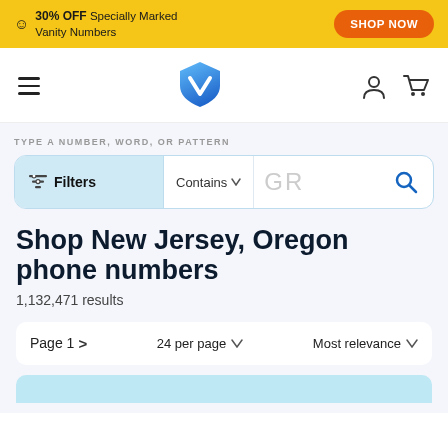30% OFF Specially Marked Vanity Numbers — SHOP NOW
[Figure (logo): VanityNumbers.com shield logo with blue gradient]
TYPE A NUMBER, WORD, OR PATTERN
Filters  Contains ∨  GR
Shop New Jersey, Oregon phone numbers
1,132,471 results
Page 1 >   24 per page ∨   Most relevance ∨